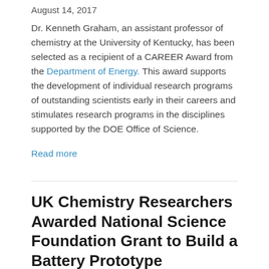August 14, 2017
Dr. Kenneth Graham, an assistant professor of chemistry at the University of Kentucky, has been selected as a recipient of a CAREER Award from the Department of Energy. This award supports the development of individual research programs of outstanding scientists early in their careers and stimulates research programs in the disciplines supported by the DOE Office of Science.
Read more
UK Chemistry Researchers Awarded National Science Foundation Grant to Build a Battery Prototype
July 18, 2017
A team of scientists at the University of Kentucky and at the Massachusetts Institute of Technology have